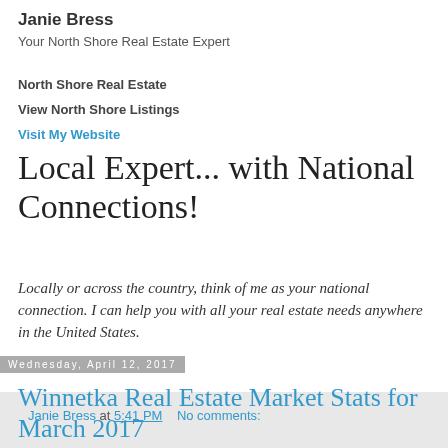Janie Bress
Your North Shore Real Estate Expert
North Shore Real Estate
View North Shore Listings
Visit My Website
Local Expert... with National Connections!
Locally or across the country, think of me as your national connection. I can help you with all your real estate needs anywhere in the United States.
Janie Bress at 5:41 PM   No comments:
Wednesday, April 12, 2017
Winnetka Real Estate Market Stats for March 2017